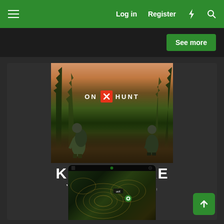Log in  Register
[Figure (screenshot): onX Hunt app advertisement screenshot showing hunters in camo in a forest with onX HUNT logo, tagline KNOW WHERE YOU STAND, and a phone mockup showing a topographic map]
See more